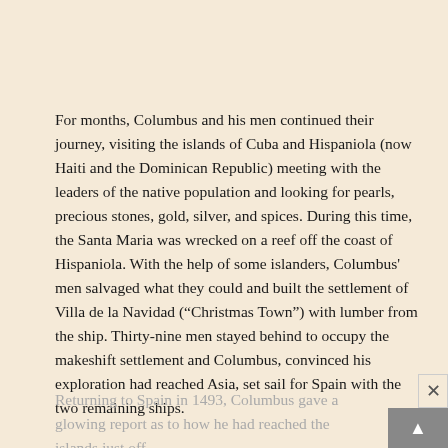For months, Columbus and his men continued their journey, visiting the islands of Cuba and Hispaniola (now Haiti and the Dominican Republic) meeting with the leaders of the native population and looking for pearls, precious stones, gold, silver, and spices. During this time, the Santa Maria was wrecked on a reef off the coast of Hispaniola. With the help of some islanders, Columbus' men salvaged what they could and built the settlement of Villa de la Navidad (“Christmas Town”) with lumber from the ship. Thirty-nine men stayed behind to occupy the makeshift settlement and Columbus, convinced his exploration had reached Asia, set sail for Spain with the two remaining ships.
Returning to Spain in 1493, Columbus gave a glowing report as to how he had reached the islands just off